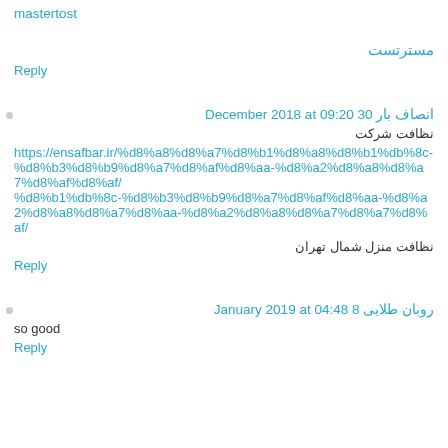mastertost
مسترتست
Reply
انصاف بار 30 December 2018 at 09:20
نظافت شرکت
https://ensafbar.ir/%d8%a8%d8%a7%d8%b1%d8%a8%d8%b1%db%8c-%d8%b3%d8%b9%d8%a7%d8%af%d8%aa-%d8%a2%d8%a8%d8%a7%d8%a7%d8%af/
نظافت منزل شمال تهران
Reply
روبان طلایی 8 January 2019 at 04:48
so good
Reply